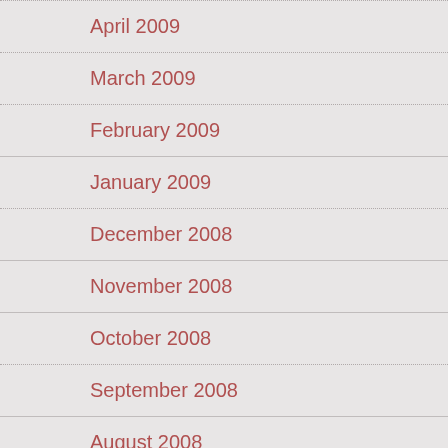April 2009
March 2009
February 2009
January 2009
December 2008
November 2008
October 2008
September 2008
August 2008
July 2008